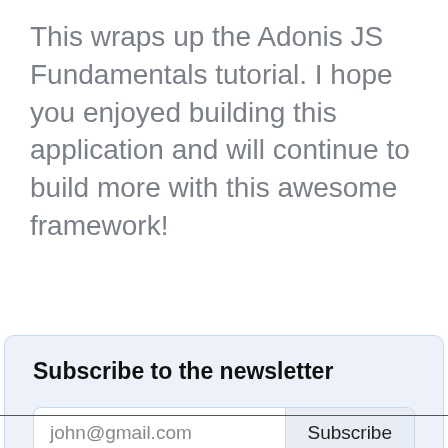This wraps up the Adonis JS Fundamentals tutorial. I hope you enjoyed building this application and will continue to build more with this awesome framework!
Subscribe to the newsletter
john@gmail.com